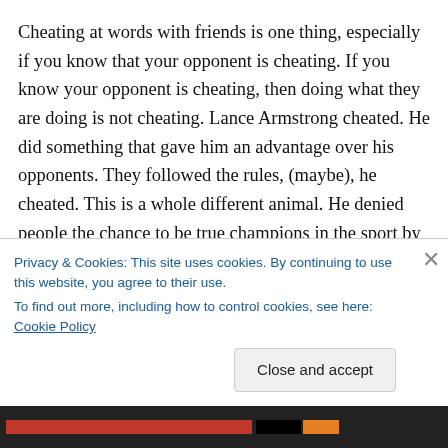Cheating at words with friends is one thing, especially if you know that your opponent is cheating. If you know your opponent is cheating, then doing what they are doing is not cheating. Lance Armstrong cheated. He did something that gave him an advantage over his opponents. They followed the rules, (maybe), he cheated. This is a whole different animal. He denied people the chance to be true champions in the sport by cheating, while they followed the rules. They did not know he was cheating. They played
Privacy & Cookies: This site uses cookies. By continuing to use this website, you agree to their use.
To find out more, including how to control cookies, see here: Cookie Policy
Close and accept